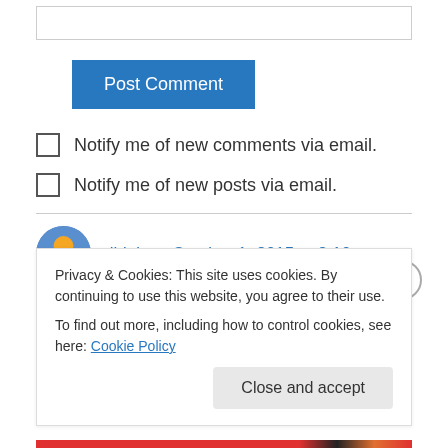[Figure (other): Text input box (empty)]
[Figure (other): Post Comment button (blue)]
Notify me of new comments via email.
Notify me of new posts via email.
tildeb on October 1, 2015 at 2:10 pm
The man knows ants. And he's a very good
Privacy & Cookies: This site uses cookies. By continuing to use this website, you agree to their use.
To find out more, including how to control cookies, see here: Cookie Policy
Close and accept